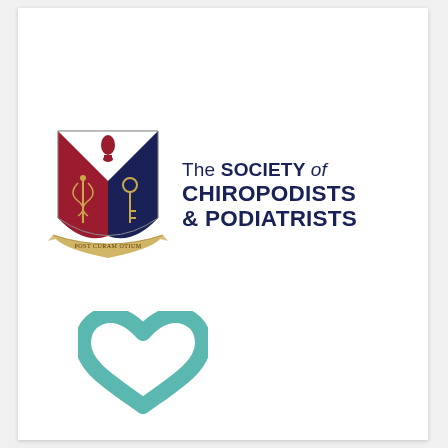[Figure (logo): The Society of Chiropodists & Podiatrists logo: a heraldic shield in red and blue with a caduceus snake symbol and a key, with a banner reading 'POST CURAM OTIUM', next to the text 'The SOCIETY of CHIROPODISTS & PODIATRISTS' in dark navy.]
[Figure (illustration): A teal/mint coloured open heart outline icon at the bottom left of the page.]